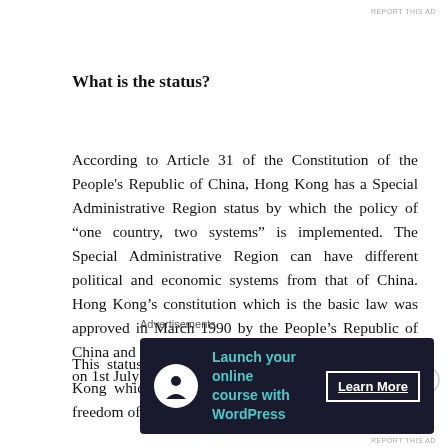REPORT THIS AD
What is the status?
According to Article 31 of the Constitution of the People's Republic of China, Hong Kong has a Special Administrative Region status by which the policy of “one country, two systems” is implemented. The Special Administrative Region can have different political and economic systems from that of China. Hong Kong’s constitution which is the basic law was approved in March 1990 by the People’s Republic of China and came into force upon transfer of sovereignty on 1st July 1997.
This status guarantees specific liberties to Hong Kong which are not available to China such as freedom of speech and
Advertisements
[Figure (infographic): Advertisement banner with dark navy background showing a white circle icon with a tree/person logo, teal text 'Launch your online course with WordPress', and a white 'Learn More' button.]
REPORT THIS AD